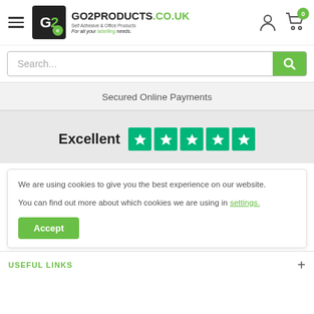[Figure (logo): GO2PRODUCTS.CO.UK logo with hamburger menu, person icon, and cart icon with 0 badge]
Search...
Secured Online Payments
Excellent ★★★★★
We are using cookies to give you the best experience on our website.

You can find out more about which cookies we are using in settings.
Accept
USEFUL LINKS +